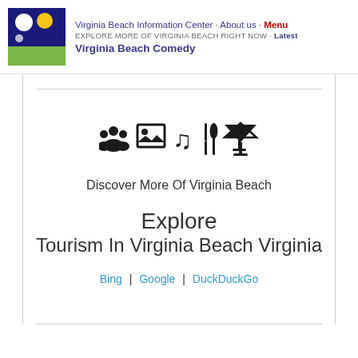Virginia Beach Information Center · About us · Menu | EXPLORE MORE OF VIRGINIA BEACH RIGHT NOW · Latest | Virginia Beach Comedy
[Figure (illustration): Category icons: group of people, image/photo frame, music note, fork and knife, martini glass]
Discover More Of Virginia Beach
Explore
Tourism In Virginia Beach Virginia
Bing | Google | DuckDuckGo